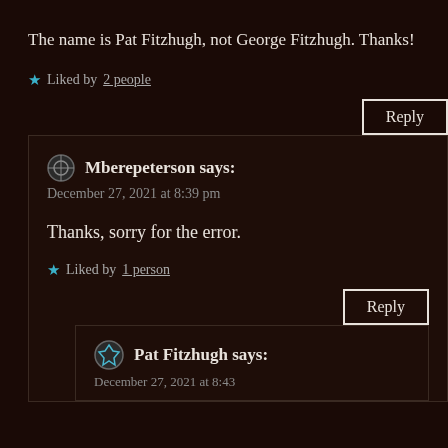The name is Pat Fitzhugh, not George Fitzhugh. Thanks!
★ Liked by 2 people
Reply
Mberepeterson says:
December 27, 2021 at 8:39 pm
Thanks, sorry for the error.
★ Liked by 1 person
Reply
Pat Fitzhugh says:
December 27, 2021 at 8:43